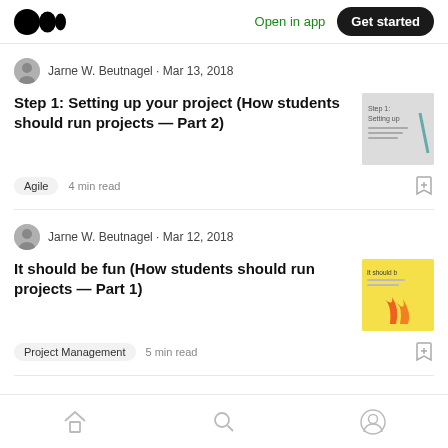Medium logo · Open in app · Get started
Jarne W. Beutnagel · Mar 13, 2018
Step 1: Setting up your project (How students should run projects — Part 2)
[Figure (photo): Thumbnail image for Step 1: Setting up article]
Agile  4 min read
Jarne W. Beutnagel · Mar 12, 2018
It should be fun (How students should run projects — Part 1)
[Figure (photo): Thumbnail image for It should be fun article, yellow background with flames]
Project Management  5 min read
Home · Search · Profile